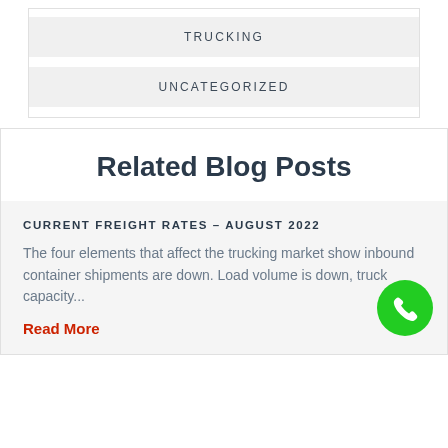TRUCKING
UNCATEGORIZED
Related Blog Posts
CURRENT FREIGHT RATES – AUGUST 2022
The four elements that affect the trucking market show inbound container shipments are down. Load volume is down, truck capacity...
Read More